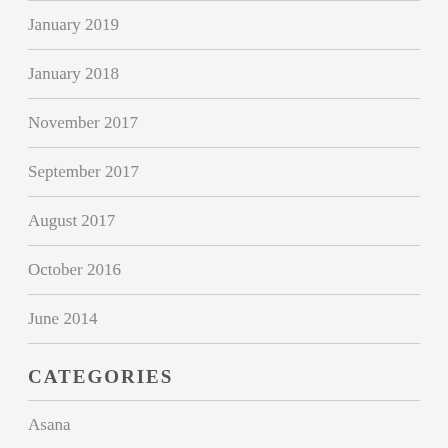January 2019
January 2018
November 2017
September 2017
August 2017
October 2016
June 2014
CATEGORIES
Asana
Books
Cooking Tips
Diet
Education